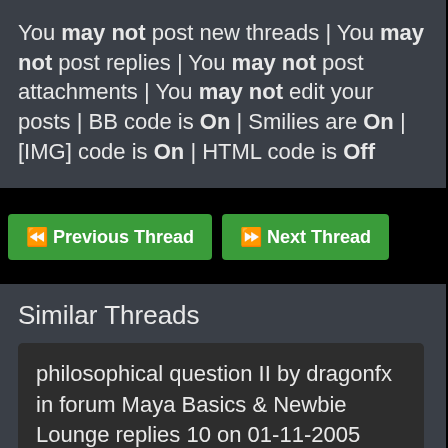You may not post new threads | You may not post replies | You may not post attachments | You may not edit your posts | BB code is On | Smilies are On | [IMG] code is On | HTML code is Off
Previous Thread | Next Thread
Similar Threads
philosophical question II by dragonfx in forum Maya Basics & Newbie Lounge replies 10 on 01-11-2005